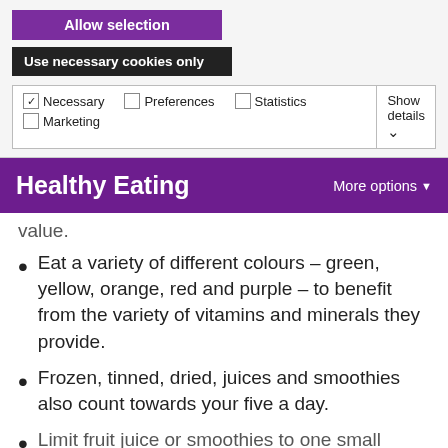Allow selection
Use necessary cookies only
Necessary   Preferences   Statistics   Marketing   Show details
Healthy Eating   More options
value.
Eat a variety of different colours – green, yellow, orange, red and purple – to benefit from the variety of vitamins and minerals they provide.
Frozen, tinned, dried, juices and smoothies also count towards your five a day.
Limit fruit juice or smoothies to one small